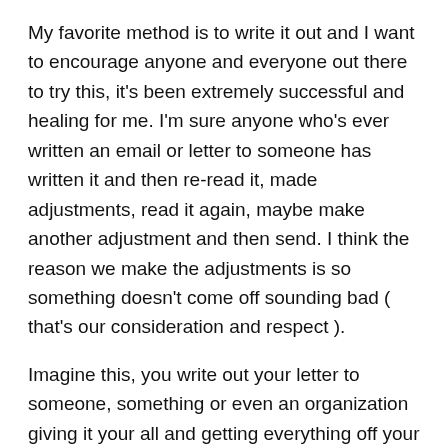My favorite method is to write it out and I want to encourage anyone and everyone out there to try this, it's been extremely successful and healing for me.  I'm sure anyone who's ever written an email or letter to someone has written it and then re-read it, made adjustments, read it again, maybe make another adjustment and then send. I think the reason we make the adjustments is so something doesn't come off sounding bad ( that's our consideration and respect ).
Imagine this, you write out your letter to someone, something or even an organization giving it your all and getting everything off your chest, leaving nothing unsaid.
Don't actually send it!
Every time and I do mean every time I've done this I've